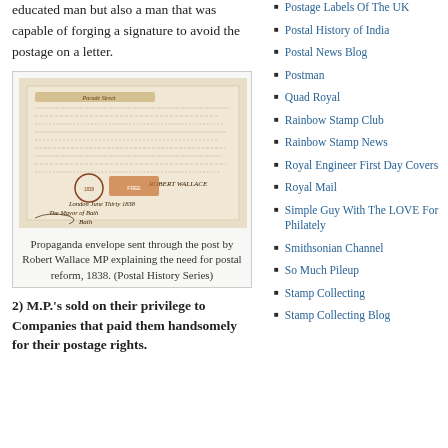educated man but also a man that was capable of forging a signature to avoid the postage on a letter.
[Figure (photo): Old handwritten propaganda envelope sent through the post, with cursive text, a stamp/seal, and postal markings dated 1838.]
Propaganda envelope sent through the post by Robert Wallace MP explaining the need for postal reform, 1838. (Postal History Series)
2) M.P.'s sold on their privilege to Companies that paid them handsomely for their postage rights.
Postage Labels Of The UK
Postal History of India
Postal News Blog
Postman
Quad Royal
Rainbow Stamp Club
Rainbow Stamp News
Royal Engineer First Day Covers
Royal Mail
Simple Guy With The LOVE For Philately
Smithsonian Channel
So Much Pileup
Stamp Collecting
Stamp Collecting Blog